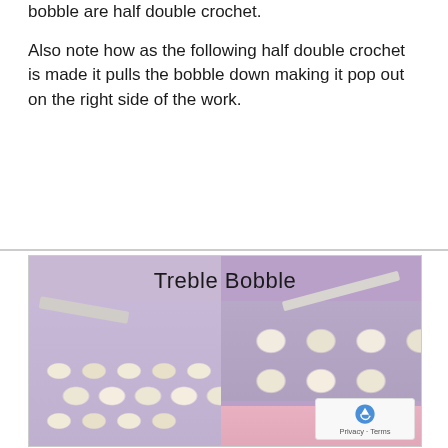bobble are half double crochet.
Also note how as the following half double crochet is made it pulls the bobble down making it pop out on the right side of the work.
[Figure (photo): Two side-by-side photos of crochet work labeled 'Treble Bobble'. Left photo shows cream/white crochet stitches (half double crochet bobble pattern) against a purple fabric background. Right photo shows a treble crochet bobble stitch being worked with a metal crochet hook, with cream yarn against purple background and pink yarn visible at the bottom.]